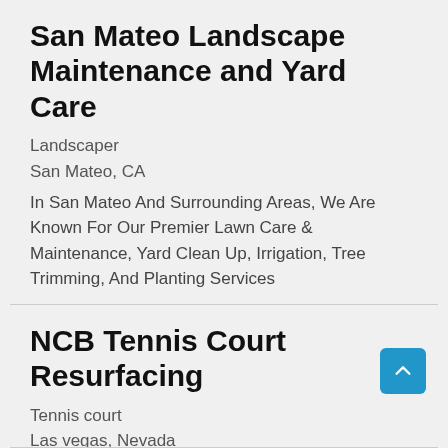San Mateo Landscape Maintenance and Yard Care
Landscaper
San Mateo, CA
In San Mateo And Surrounding Areas, We Are Known For Our Premier Lawn Care & Maintenance, Yard Clean Up, Irrigation, Tree Trimming, And Planting Services
NCB Tennis Court Resurfacing
Tennis court
Las vegas, Nevada
The best NCB Tennis Court